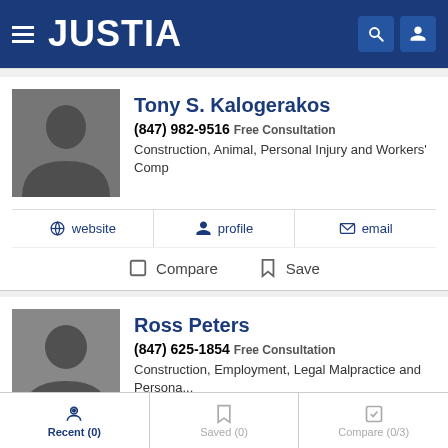JUSTIA
Tony S. Kalogerakos
(847) 982-9516 Free Consultation
Construction, Animal, Personal Injury and Workers' Comp
website  profile  email
Compare  Save
Ross Peters
(847) 625-1854 Free Consultation
Construction, Employment, Legal Malpractice and Persona...
website  profile  email
Recent (0)  Saved (0)  Compare (0/3)